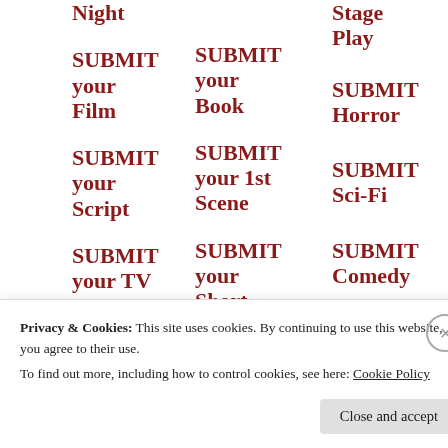Night
SUBMIT your Film
SUBMIT your Script
SUBMIT your TV
SUBMIT your Book
SUBMIT your 1st Scene
SUBMIT your Short
Stage Play
SUBMIT Horror
SUBMIT Sci-Fi
SUBMIT Comedy
LOGLINE Submissions
SEND in Best Scene
VIDEO Pitch Festival
VIDEO/AUDIO Book Made
FILM Video
WINN Scre
WINN Storie
READ Poem
Privacy & Cookies: This site uses cookies. By continuing to use this website, you agree to their use.
To find out more, including how to control cookies, see here: Cookie Policy
Close and accept